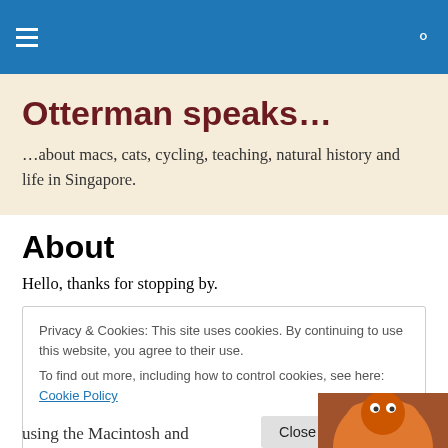Otterman speaks…
…about macs, cats, cycling, teaching, natural history and life in Singapore.
About
Hello, thanks for stopping by.
Privacy & Cookies: This site uses cookies. By continuing to use this website, you agree to their use.
To find out more, including how to control cookies, see here: Cookie Policy
Close and accept
using the Macintosh and